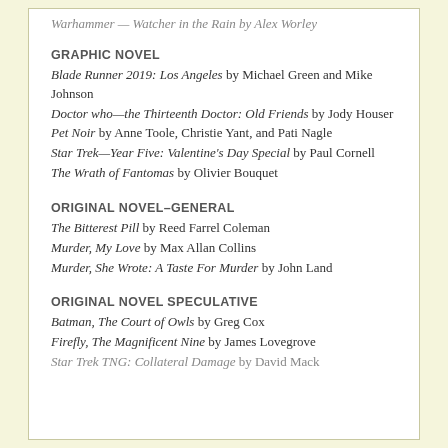Warhammer — Watcher in the Rain by Alex Worley
GRAPHIC NOVEL
Blade Runner 2019: Los Angeles by Michael Green and Mike Johnson
Doctor who—the Thirteenth Doctor: Old Friends by Jody Houser
Pet Noir by Anne Toole, Christie Yant, and Pati Nagle
Star Trek—Year Five: Valentine's Day Special by Paul Cornell
The Wrath of Fantomas by Olivier Bouquet
ORIGINAL NOVEL–GENERAL
The Bitterest Pill by Reed Farrel Coleman
Murder, My Love by Max Allan Collins
Murder, She Wrote: A Taste For Murder by John Land
ORIGINAL NOVEL SPECULATIVE
Batman, The Court of Owls by Greg Cox
Firefly, The Magnificent Nine by James Lovegrove
Star Trek TNG: Collateral Damage by David Mack